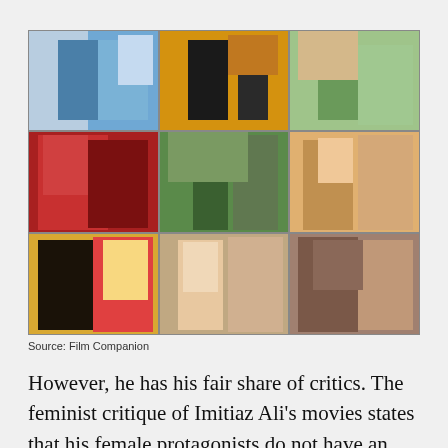[Figure (photo): A 3x3 collage of Bollywood movie stills showing various actors and scenes from films directed by Imtiaz Ali, including romantic and dramatic scenes.]
Source: Film Companion
However, he has his fair share of critics. The feminist critique of Imitiaz Ali's movies states that his female protagonists do not have an identity beyond aiding their male counterpart. Similarly, his male characters are often deemed insufferable if they were real.